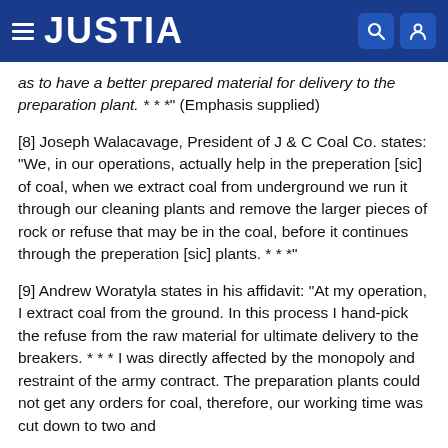JUSTIA
as to have a better prepared material for delivery to the preparation plant. * * *" (Emphasis supplied)
[8] Joseph Walacavage, President of J & C Coal Co. states: "We, in our operations, actually help in the preperation [sic] of coal, when we extract coal from underground we run it through our cleaning plants and remove the larger pieces of rock or refuse that may be in the coal, before it continues through the preperation [sic] plants. * * *"
[9] Andrew Woratyla states in his affidavit: "At my operation, I extract coal from the ground. In this process I hand-pick the refuse from the raw material for ultimate delivery to the breakers. * * * I was directly affected by the monopoly and restraint of the army contract. The preparation plants could not get any orders for coal, therefore, our working time was cut down to two and